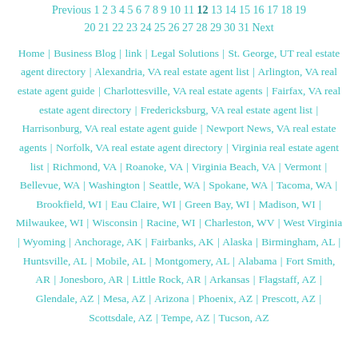Previous 1 2 3 4 5 6 7 8 9 10 11 12 13 14 15 16 17 18 19 20 21 22 23 24 25 26 27 28 29 30 31 Next
Home | Business Blog | link | Legal Solutions | St. George, UT real estate agent directory | Alexandria, VA real estate agent list | Arlington, VA real estate agent guide | Charlottesville, VA real estate agents | Fairfax, VA real estate agent directory | Fredericksburg, VA real estate agent list | Harrisonburg, VA real estate agent guide | Newport News, VA real estate agents | Norfolk, VA real estate agent directory | Virginia real estate agent list | Richmond, VA | Roanoke, VA | Virginia Beach, VA | Vermont | Bellevue, WA | Washington | Seattle, WA | Spokane, WA | Tacoma, WA | Brookfield, WI | Eau Claire, WI | Green Bay, WI | Madison, WI | Milwaukee, WI | Wisconsin | Racine, WI | Charleston, WV | West Virginia | Wyoming | Anchorage, AK | Fairbanks, AK | Alaska | Birmingham, AL | Huntsville, AL | Mobile, AL | Montgomery, AL | Alabama | Fort Smith, AR | Jonesboro, AR | Little Rock, AR | Arkansas | Flagstaff, AZ | Glendale, AZ | Mesa, AZ | Arizona | Phoenix, AZ | Prescott, AZ | Scottsdale, AZ | Tempe, AZ | Tucson, AZ